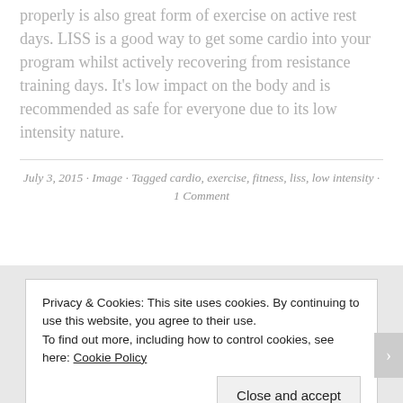properly is also great form of exercise on active rest days. LISS is a good way to get some cardio into your program whilst actively recovering from resistance training days. It's low impact on the body and is recommended as safe for everyone due to its low intensity nature.
July 3, 2015 · Image · Tagged cardio, exercise, fitness, liss, low intensity · 1 Comment
Privacy & Cookies: This site uses cookies. By continuing to use this website, you agree to their use. To find out more, including how to control cookies, see here: Cookie Policy